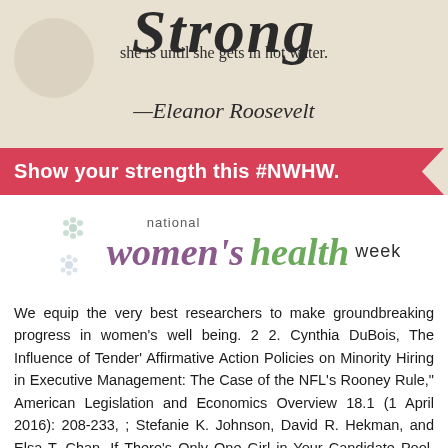[Figure (infographic): National Women's Health Week promotional graphic with Eleanor Roosevelt quote 'Strong she is until she gets in hot water.' on beige background, red banner saying 'Show your strength this #NWHW.', and National Women's Health Week logo below.]
We equip the very best researchers to make groundbreaking progress in women's well being. 2 2. Cynthia DuBois, The Influence of Tender' Affirmative Action Policies on Minority Hiring in Executive Management: The Case of the NFL's Rooney Rule," American Legislation and Economics Overview 18.1 (1 April 2016): 208-233, ; Stefanie K. Johnson, David R. Hekman, and Elsa T. Chan, If There's Only One Girl in Your Candidate Pool, There's Statistically No